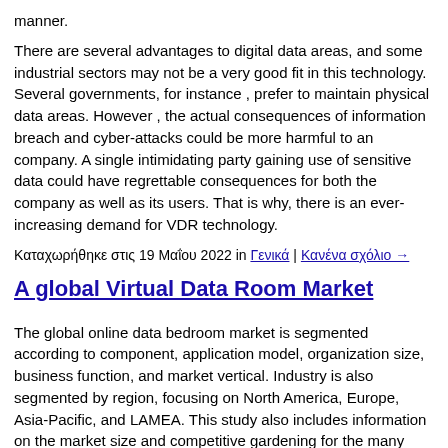manner.
There are several advantages to digital data areas, and some industrial sectors may not be a very good fit in this technology. Several governments, for instance , prefer to maintain physical data areas. However , the actual consequences of information breach and cyber-attacks could be more harmful to an company. A single intimidating party gaining use of sensitive data could have regrettable consequences for both the company as well as its users. That is why, there is an ever-increasing demand for VDR technology.
Καταχωρήθηκε στις 19 Μαΐου 2022 in Γενικά | Κανένα σχόλιο →
A global Virtual Data Room Market
The global online data bedroom market is segmented according to component, application model, organization size, business function, and market vertical. Industry is also segmented by region, focusing on North America, Europe, Asia-Pacific, and LAMEA. This study also includes information on the market size and competitive gardening for the many components inside the virtual data room. Different vendors are providing a broad variety of products and services in this market.